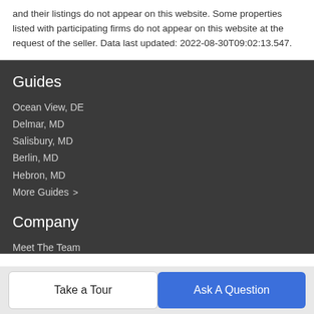and their listings do not appear on this website. Some properties listed with participating firms do not appear on this website at the request of the seller. Data last updated: 2022-08-30T09:02:13.547.
Guides
Ocean View, DE
Delmar, MD
Salisbury, MD
Berlin, MD
Hebron, MD
More Guides >
Company
Meet The Team